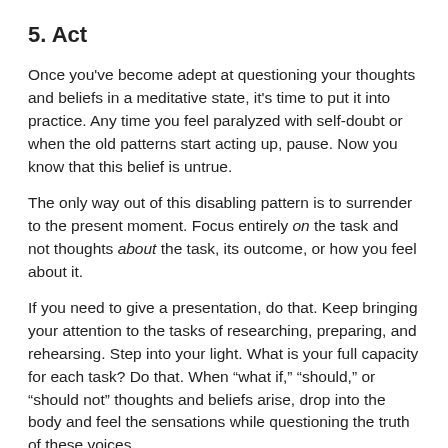5. Act
Once you've become adept at questioning your thoughts and beliefs in a meditative state, it's time to put it into practice. Any time you feel paralyzed with self-doubt or when the old patterns start acting up, pause. Now you know that this belief is untrue.
The only way out of this disabling pattern is to surrender to the present moment. Focus entirely on the task and not thoughts about the task, its outcome, or how you feel about it.
If you need to give a presentation, do that. Keep bringing your attention to the tasks of researching, preparing, and rehearsing. Step into your light. What is your full capacity for each task? Do that. When “what if,” “should,” or “should not” thoughts and beliefs arise, drop into the body and feel the sensations while questioning the truth of these voices.
The only thing that we ever have control over is our intention for acting. As long as we keep our hearts open, genuinely value ourselves and others, and act in ways that serve more than just